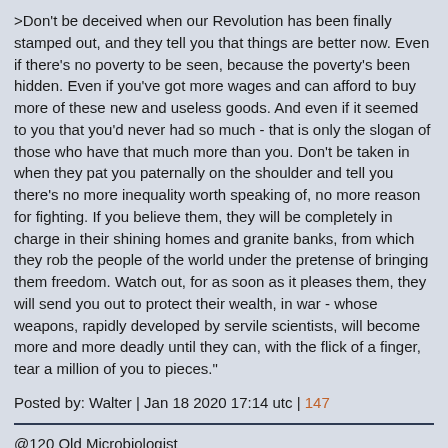>Don't be deceived when our Revolution has been finally stamped out, and they tell you that things are better now. Even if there's no poverty to be seen, because the poverty's been hidden. Even if you've got more wages and can afford to buy more of these new and useless goods. And even if it seemed to you that you'd never had so much - that is only the slogan of those who have that much more than you. Don't be taken in when they pat you paternally on the shoulder and tell you there's no more inequality worth speaking of, no more reason for fighting. If you believe them, they will be completely in charge in their shining homes and granite banks, from which they rob the people of the world under the pretense of bringing them freedom. Watch out, for as soon as it pleases them, they will send you out to protect their wealth, in war - whose weapons, rapidly developed by servile scientists, will become more and more deadly until they can, with the flick of a finger, tear a million of you to pieces."
Posted by: Walter | Jan 18 2020 17:14 utc | 147
@120 Old Microbiologist
The Russian airbase at Khmeimim has been attacked at least half a dozen times by drone swarms. The Russians never suffered a single blow. Current practice is to electronically commandeer and land the craft. These